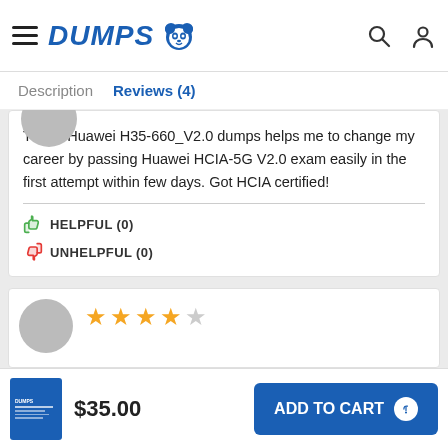DUMPS [panda logo] [search icon] [user icon]
Description   Reviews (4)
These Huawei H35-660_V2.0 dumps helps me to change my career by passing Huawei HCIA-5G V2.0 exam easily in the first attempt within few days. Got HCIA certified!
HELPFUL (0)
UNHELPFUL (0)
[Figure (other): Star rating display showing 4 out of 5 stars (4 filled orange stars, 1 empty star)]
$35.00  ADD TO CART